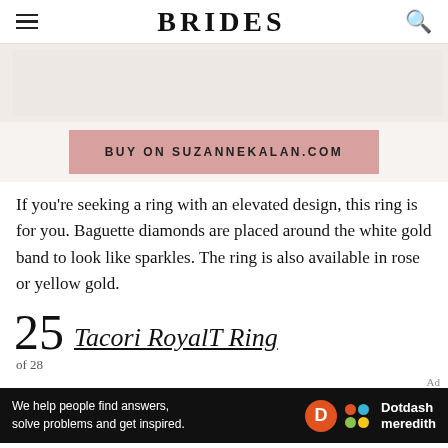BRIDES
[Figure (other): Partial product image placeholder area with beige/cream background]
BUY ON SUZANNEKALAN.COM
If you're seeking a ring with an elevated design, this ring is for you. Baguette diamonds are placed around the white gold band to look like sparkles. The ring is also available in rose or yellow gold.
25 Tacori RoyalT Ring
of 28
[Figure (other): Dotdash Meredith advertisement banner: 'We help people find answers, solve problems and get inspired.']